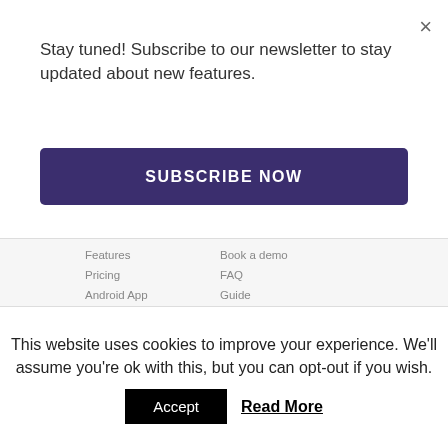×
Stay tuned! Subscribe to our newsletter to stay updated about new features.
SUBSCRIBE NOW
Features
Pricing
Android App
iOS App coming soon
Web App
Book a demo
FAQ
Guide
Support
BUSINESS
ABOUT
Hush for Business
GDPR
Use cases
About us
Jobs
Terms of Use
This website uses cookies to improve your experience. We'll assume you're ok with this, but you can opt-out if you wish.
Accept
Read More